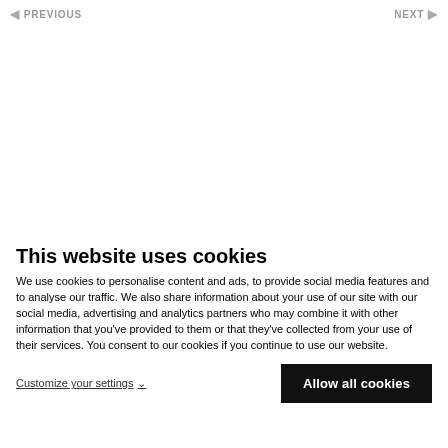PREVIOUS   NEXT
This website uses cookies
We use cookies to personalise content and ads, to provide social media features and to analyse our traffic. We also share information about your use of our site with our social media, advertising and analytics partners who may combine it with other information that you've provided to them or that they've collected from your use of their services. You consent to our cookies if you continue to use our website.
Customize your settings
Allow all cookies